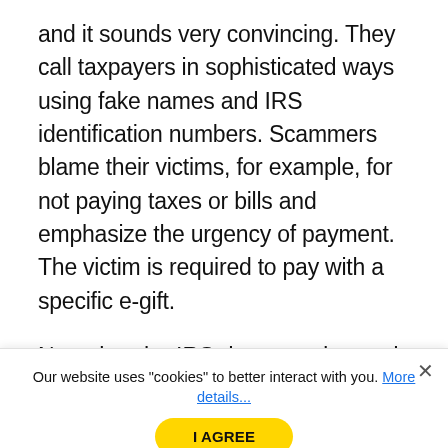and it sounds very convincing. They call taxpayers in sophisticated ways using fake names and IRS identification numbers. Scammers blame their victims, for example, for not paying taxes or bills and emphasize the urgency of payment. The victim is required to pay with a specific e-gift.
Note that the IRS does not demand
Our website uses "cookies" to better interact with you. More details...
I AGREE
officers or local police to arrest people for not paying.